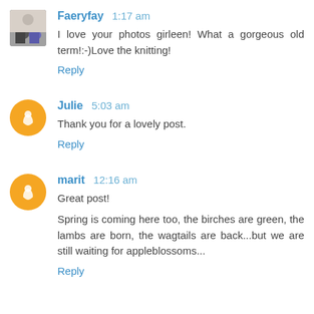Faeryfay 1:17 am
I love your photos girleen! What a gorgeous old term!:-)Love the knitting!
Reply
Julie 5:03 am
Thank you for a lovely post.
Reply
marit 12:16 am
Great post!
Spring is coming here too, the birches are green, the lambs are born, the wagtails are back...but we are still waiting for appleblossoms...
Reply